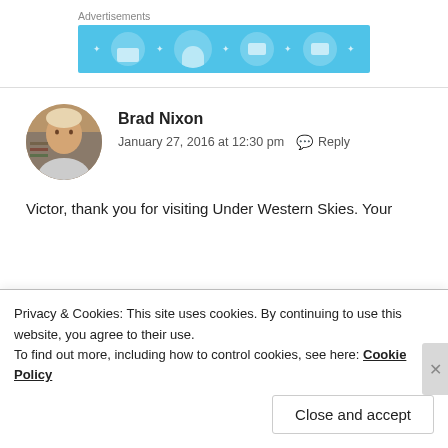Advertisements
[Figure (illustration): Advertisement banner with light blue background showing circular icons representing email, person/user, and device, with small star/sparkle decorations]
Brad Nixon
January 27, 2016 at 12:30 pm   Reply
Victor, thank you for visiting Under Western Skies. Your
Privacy & Cookies: This site uses cookies. By continuing to use this website, you agree to their use.
To find out more, including how to control cookies, see here: Cookie Policy
Close and accept